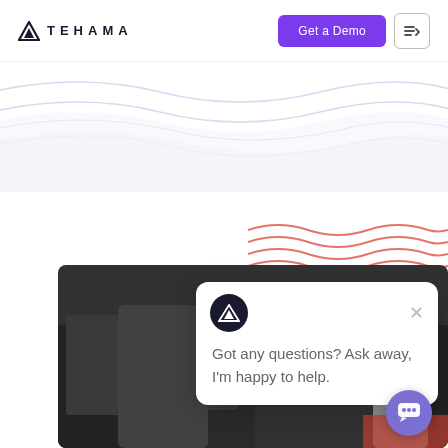[Figure (logo): Tehama logo with mountain triangle icon and text TEHAMA in spaced capitals]
Get a Demo
[Figure (illustration): Decorative light blue wave lines on white background]
[Figure (illustration): Red/coral wavy lines decorative element top right]
[Figure (photo): Black and white photo of a man sitting on a train looking at his phone, with other passengers visible]
[Figure (screenshot): Chat popup overlay with Tehama mountain logo icon, close X button, and message: Got any questions? Ask away, I'm happy to help.]
Got any questions? Ask away, I'm happy to help.